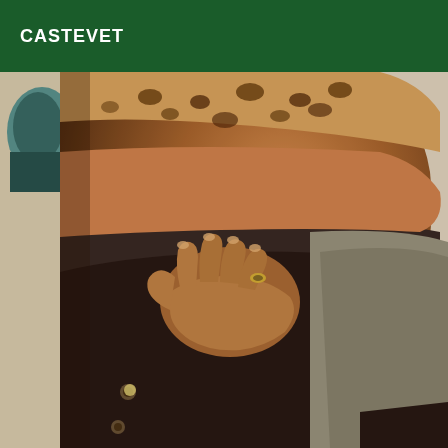CASTEVET
[Figure (photo): Close-up photo of a person's midsection and hand, wearing dark shorts/pants and a leopard print top, with a hand placed on the hip/waist area. Background shows a wall and partial view of another object.]